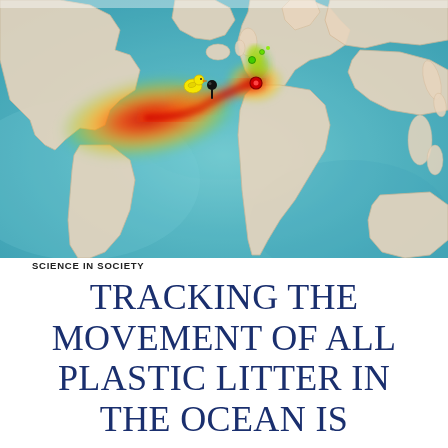[Figure (map): Watercolor-style world map with ocean currents or drift simulation shown as a heat map. A red-orange hot zone is visible in the North Atlantic/Caribbean region, with green-yellow areas near Europe. A yellow rubber duck icon and a black location pin are marked in the North Atlantic. The map uses a teal/turquoise watercolor ocean background with beige/tan landmasses.]
SCIENCE IN SOCIETY
TRACKING THE MOVEMENT OF ALL PLASTIC LITTER IN THE OCEAN IS